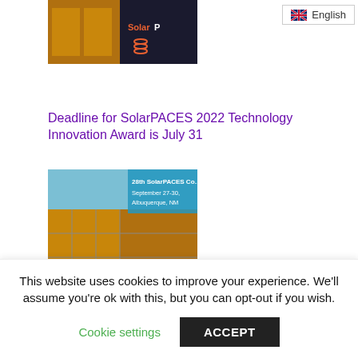[Figure (photo): SolarPACES branded image with solar reflector panels at sunset, partially cropped at top]
[Figure (other): English language selector button with UK flag icon]
Deadline for SolarPACES 2022 Technology Innovation Award is July 31
[Figure (photo): 28th SolarPACES Conference, September 27-30, Albuquerque, NM — image of solar concentrator panels with SolarPACES logo, cropped on right side]
SolarPACES 2020 Proceedings Now Published with AIP
[Figure (photo): Partially visible image below SolarPACES 2020 Proceedings article link]
This website uses cookies to improve your experience. We'll assume you're ok with this, but you can opt-out if you wish.
Cookie settings
ACCEPT